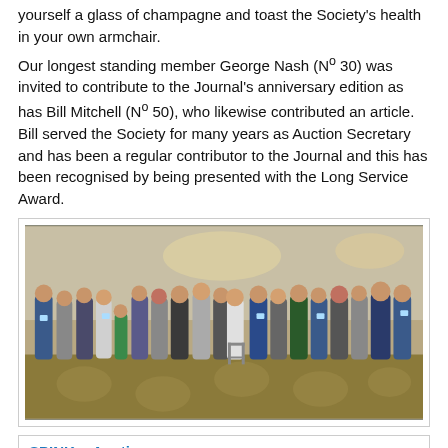yourself a glass of champagne and toast the Society's health in your own armchair. Our longest standing member George Nash (Nº 30) was invited to contribute to the Journal's anniversary edition as has Bill Mitchell (Nº 50), who likewise contributed an article. Bill served the Society for many years as Auction Secretary and has been a regular contributor to the Journal and this has been recognised by being presented with the Long Service Award.
[Figure (photo): Group photo of approximately 30 people standing together in a hotel or function room, raising glasses in a toast. The room has a patterned carpet and warm lighting.]
SPINK e-Auction